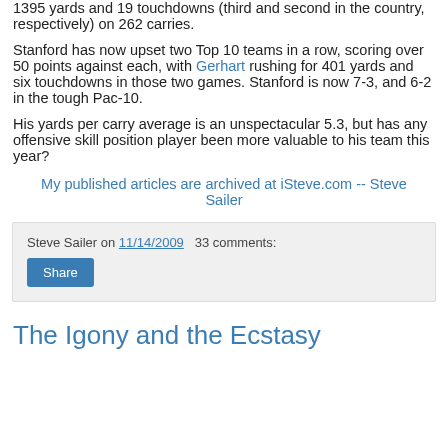1395 yards and 19 touchdowns (third and second in the country, respectively) on 262 carries.
Stanford has now upset two Top 10 teams in a row, scoring over 50 points against each, with Gerhart rushing for 401 yards and six touchdowns in those two games. Stanford is now 7-3, and 6-2 in the tough Pac-10.
His yards per carry average is an unspectacular 5.3, but has any offensive skill position player been more valuable to his team this year?
My published articles are archived at iSteve.com -- Steve Sailer
Steve Sailer on 11/14/2009   33 comments:
The Igony and the Ecstasy